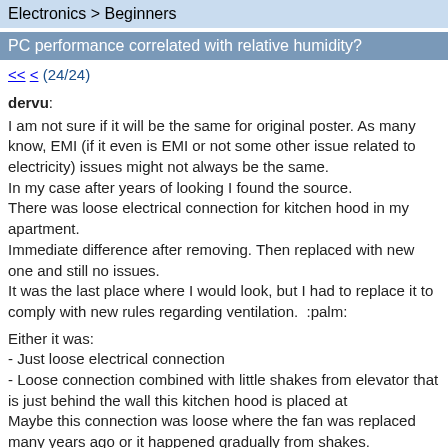Electronics > Beginners
PC performance correlated with relative humidity?
<< < (24/24)
dervu:
I am not sure if it will be the same for original poster. As many know, EMI (if it even is EMI or not some other issue related to electricity) issues might not always be the same.
In my case after years of looking I found the source.
There was loose electrical connection for kitchen hood in my apartment.
Immediate difference after removing. Then replaced with new one and still no issues.
It was the last place where I would look, but I had to replace it to comply with new rules regarding ventilation.  :palm:

Either it was:
- Just loose electrical connection
- Loose connection combined with little shakes from elevator that is just behind the wall this kitchen hood is placed at
Maybe this connection was loose where the fan was replaced many years ago or it happened gradually from shakes.